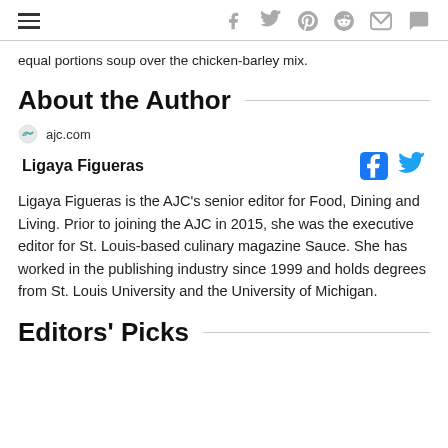Navigation and social share icons
equal portions soup over the chicken-barley mix.
About the Author
ajc.com
Ligaya Figueras
Ligaya Figueras is the AJC's senior editor for Food, Dining and Living. Prior to joining the AJC in 2015, she was the executive editor for St. Louis-based culinary magazine Sauce. She has worked in the publishing industry since 1999 and holds degrees from St. Louis University and the University of Michigan.
Editors' Picks